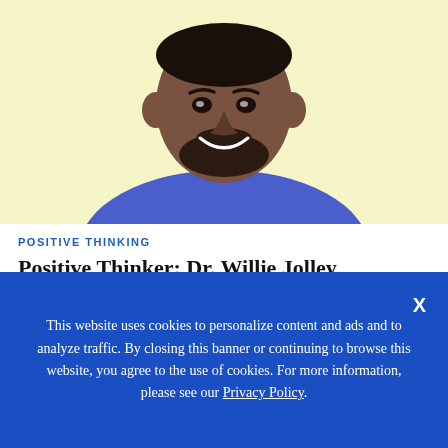[Figure (photo): Portrait photo of Dr. Willie Jolley, a Black man smiling, wearing a blue shirt and tie, photographed from chest up against a light yellow background.]
POSITIVE THINKING
Positive Thinker: Dr. Willie Jolley, Motivational Speaker, Radio Host, Author
This website uses cookies to personalize content and ads and to analyze traffic. By closing this banner or continuing to browse this website, you agree to the use of cookies. For more information, please see our Privacy Policy.